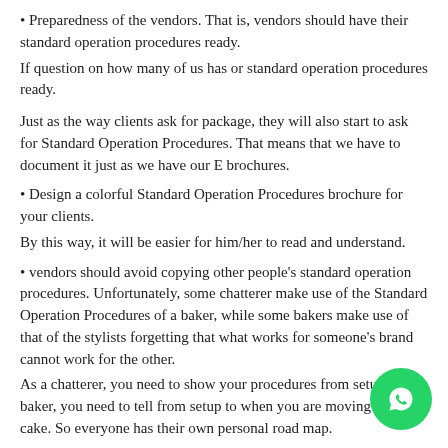Preparedness of the vendors. That is, vendors should have their standard operation procedures ready.
If question on how many of us has or standard operation procedures ready.
Just as the way clients ask for package, they will also start to ask for Standard Operation Procedures. That means that we have to document it just as we have our E brochures.
Design a colorful Standard Operation Procedures brochure for your clients.
By this way, it will be easier for him/her to read and understand.
vendors should avoid copying other people's standard operation procedures. Unfortunately, some chatterer make use of the Standard Operation Procedures of a baker, while some bakers make use of that of the stylists forgetting that what works for someone's brand cannot work for the other.
As a chatterer, you need to show your procedures from setup as a baker, you need to tell from setup to when you are moving your cake. So everyone has their own personal road map.